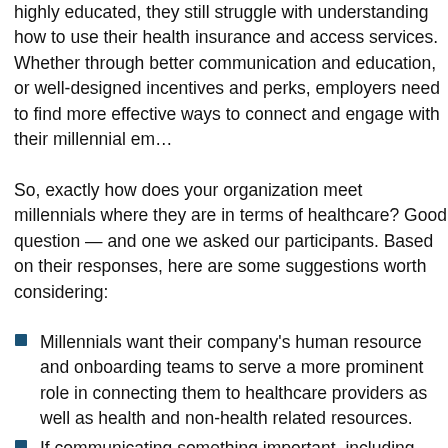highly educated, they still struggle with understanding how to use their health insurance and access services. Whether through better communication and education, or well-designed incentives and perks, employers need to find more effective ways to connect and engage with their millennial em...
So, exactly how does your organization meet millennials where they are in terms of healthcare? Good question — and one we asked our participants. Based on their responses, here are some suggestions worth considering:
Millennials want their company's human resource and onboarding teams to serve a more prominent role in connecting them to healthcare providers as well as health and non-health related resources.
If communicating something important, including information about health, the message could be more effective if delivered personally rather than through...